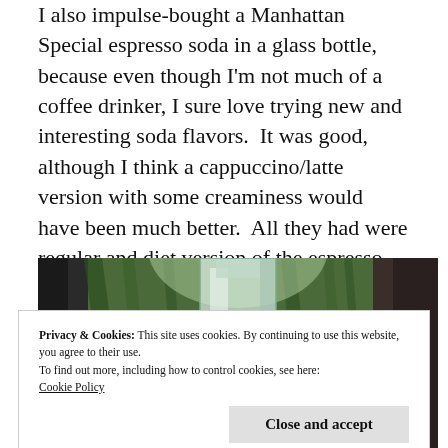I also impulse-bought a Manhattan Special espresso soda in a glass bottle, because even though I'm not much of a coffee drinker, I sure love trying new and interesting soda flavors.  It was good, although I think a cappuccino/latte version with some creaminess would have been much better.  All they had were regular and diet version of the espresso soda, though.
[Figure (photo): Photo of a glass bottle (espresso soda) among green plants/foliage, partially cut off at bottom of frame.]
Privacy & Cookies: This site uses cookies. By continuing to use this website, you agree to their use.
To find out more, including how to control cookies, see here:
Cookie Policy